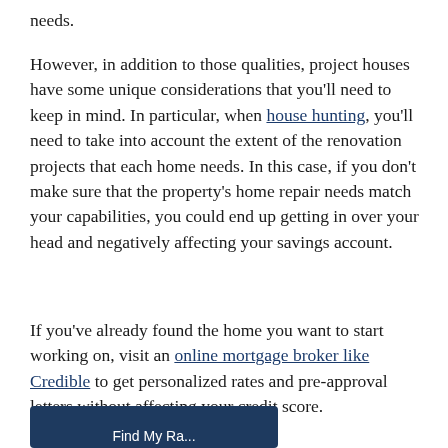needs.
However, in addition to those qualities, project houses have some unique considerations that you'll need to keep in mind. In particular, when house hunting, you'll need to take into account the extent of the renovation projects that each home needs. In this case, if you don't make sure that the property's home repair needs match your capabilities, you could end up getting in over your head and negatively affecting your savings account.
If you've already found the home you want to start working on, visit an online mortgage broker like Credible to get personalized rates and pre-approval letters without affecting your credit score.
[Figure (other): Dark navy blue button partially visible at bottom of page with white text starting 'Find My Ra...']